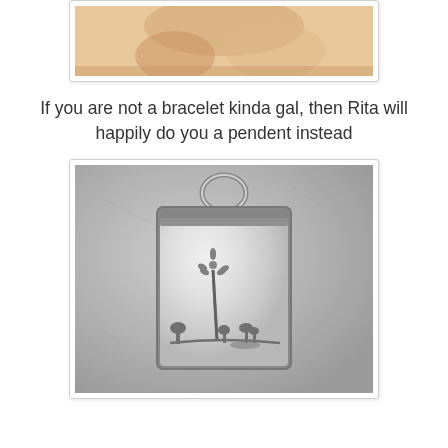[Figure (photo): Partial photo of a person's hands/fingers, appears to be holding or fastening a bracelet, warm tones, cropped at top of page]
If you are not a bracelet kinda gal, then Rita will happily do you a pendent instead
[Figure (photo): Silver pendant jewelry piece with rectangular shape, loop at top for chain, engraved design showing a tall flower/dandelion with small trees at the base, on a grey stone background]